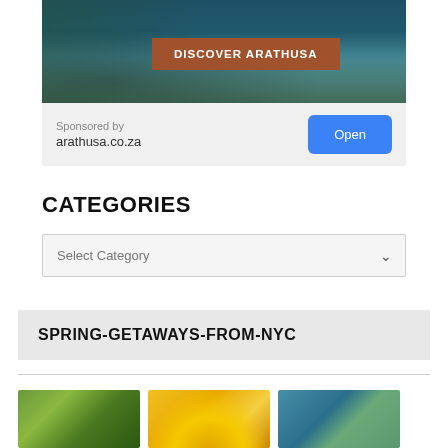[Figure (photo): Safari lodge advertisement image showing a scenic waterside African lodge at dusk with the text 'DISCOVER ARATHUSA' overlaid on a brown button]
Sponsored by
arathusa.co.za
Open
CATEGORIES
Select Category
SPRING-GETAWAYS-FROM-NYC
[Figure (photo): Thumbnail of English countryside cottages with greenery]
[Figure (photo): Thumbnail of Statue of Liberty silhouette with airplane on yellow background]
[Figure (photo): Thumbnail of a city waterfront aerial view]